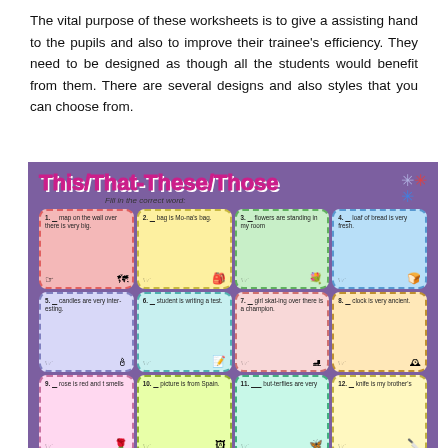The vital purpose of these worksheets is to give a assisting hand to the pupils and also to improve their trainee's efficiency. They need to be designed as though all the students would benefit from them. There are several designs and also styles that you can choose from.
[Figure (illustration): Educational worksheet titled 'This/That-These/Those' with instruction 'Fill in the correct word:' and a 4x3 grid of exercise cells, each containing a sentence with a blank and small illustrations. Cells cover items 1-12 including map, bag, flowers, loaf of bread, candles, student, girl skating, clock, rose, picture, butterflies, knife.]